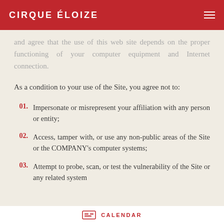CIRQUE ÉLOIZE
and agree that the use of this web site depends on the proper functioning of your computer equipment and Internet connection.
As a condition to your use of the Site, you agree not to:
01. Impersonate or misrepresent your affiliation with any person or entity;
02. Access, tamper with, or use any non-public areas of the Site or the COMPANY's computer systems;
03. Attempt to probe, scan, or test the vulnerability of the Site or any related system
CALENDAR